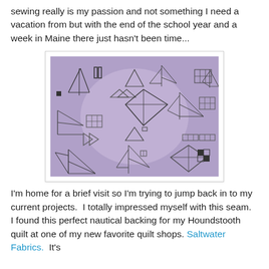sewing really is my passion and not something I need a vacation from but with the end of the school year and a week in Maine there just hasn't been time...
[Figure (photo): A square photo of purple/lavender nautical-themed fabric featuring geometric sketches of sailboats, triangles, diamonds, and other sailing motifs drawn in dark lines on a muted purple background.]
I'm home for a brief visit so I'm trying to jump back in to my current projects.  I totally impressed myself with this seam.  I found this perfect nautical backing for my Houndstooth quilt at one of my new favorite quilt shops. Saltwater Fabrics.  It's